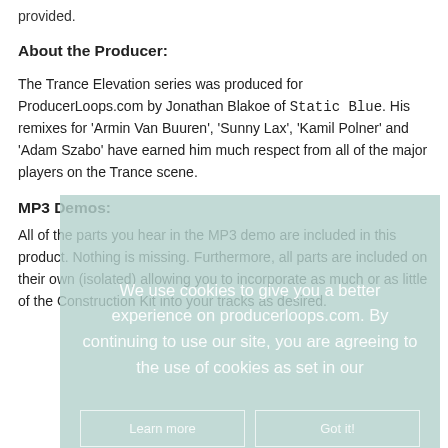provided.
About the Producer:
The Trance Elevation series was produced for ProducerLoops.com by Jonathan Blakoe of Static Blue. His remixes for 'Armin Van Buuren', 'Sunny Lax', 'Kamil Polner' and 'Adam Szabo' have earned him much respect from all of the major players on the Trance scene.
MP3 Demos:
All of the parts you hear in the MP3 demo are included in this product. Nothing is missing. Furthermore, all parts are included on their own (isolated) allowing you to incorporate as much or as little of the Construction Kit into your tracks as desired.
[Figure (other): Cookie consent overlay with light teal/mint background. Text reads: 'We use cookies to give you a better experience on producerloops.com. By continuing to use our site, you are agreeing to the use of cookies as set in our'. Two buttons at the bottom: 'Learn more' and 'Got it!'.]